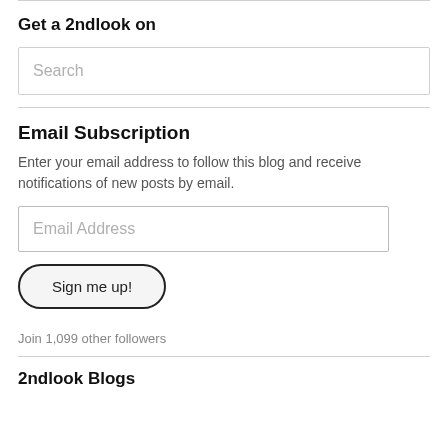Get a 2ndlook on
Search
Email Subscription
Enter your email address to follow this blog and receive notifications of new posts by email.
Email Address
Sign me up!
Join 1,099 other followers
2ndlook Blogs